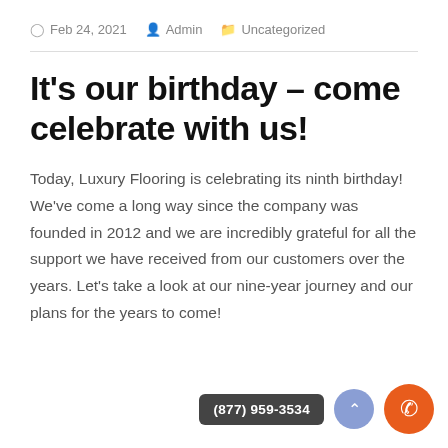Feb 24, 2021  Admin  Uncategorized
It’s our birthday – come celebrate with us!
Today, Luxury Flooring is celebrating its ninth birthday! We’ve come a long way since the company was founded in 2012 and we are incredibly grateful for all the support we have received from our customers over the years. Let’s take a look at our nine-year journey and our plans for the years to come!
(877) 959-3534